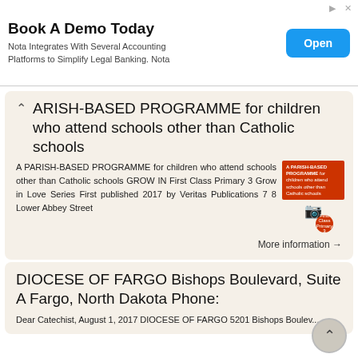[Figure (other): Advertisement banner: 'Book A Demo Today' with subtitle 'Nota Integrates With Several Accounting Platforms to Simplify Legal Banking. Nota' and a blue 'Open' button]
A PARISH-BASED PROGRAMME for children who attend schools other than Catholic schools
A PARISH-BASED PROGRAMME for children who attend schools other than Catholic schools GROW IN First Class Primary 3 Grow in Love Series First published 2017 by Veritas Publications 7 8 Lower Abbey Street
More information →
DIOCESE OF FARGO Bishops Boulevard, Suite A Fargo, North Dakota Phone:
Dear Catechist, August 1, 2017 DIOCESE OF FARGO 5201 Bishops Boulevard, Suite A